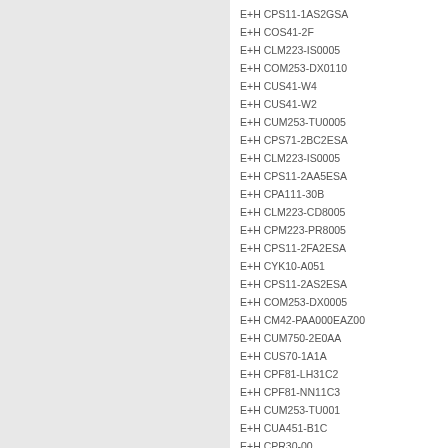E+H CPS11-1AS2GSA
E+H COS41-2F
E+H CLM223-IS0005
E+H COM253-DX0110
E+H CUS41-W4
E+H CUS41-W2
E+H CUM253-TU0005
E+H CPS71-2BC2ESA
E+H CLM223-IS0005
E+H CPS11-2AA5ESA
E+H CPA111-30B
E+H CLM223-CD8005
E+H CPM223-PR8005
E+H CPS11-2FA2ESA
E+H CYK10-A051
E+H CPS11-2AS2ESA
E+H COM253-DX0005
E+H CM42-PAA000EAZ00
E+H CUM750-2E0AA
E+H CUS70-1A1A
E+H CPF81-LH31C2
E+H CPF81-NN11C3
E+H CUM253-TU001
E+H CUA451-B1C
E+H CPR30-00
E+H CPM223-PR0105
E+H CPK9-NFA1A 90M
E+H CPK9-NFA1A 100M
E+H CPK9-NFA1A 50M
E+H CLD132-PMV138AA1
E+H CPS91-2BO2ESA
E+H 51506784